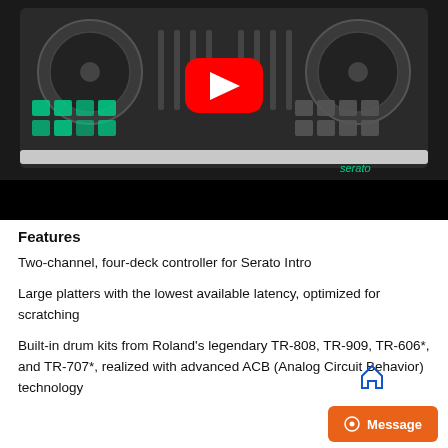[Figure (screenshot): Photo of a Roland DJ controller (two-channel, four-deck) with green-lit pads and jog wheels on a black surface, with a YouTube play button overlay in the center. The lower portion of the image is black.]
Features
Two-channel, four-deck controller for Serato Intro
Large platters with the lowest available latency, optimized for scratching
Built-in drum kits from Roland's legendary TR-808, TR-909, TR-606*, and TR-707*, realized with advanced ACB (Analog Circuit Behavior) technology